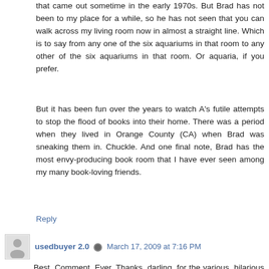that came out sometime in the early 1970s. But Brad has not been to my place for a while, so he has not seen that you can walk across my living room now in almost a straight line. Which is to say from any one of the six aquariums in that room to any other of the six aquariums in that room. Or aquaria, if you prefer.
But it has been fun over the years to watch A's futile attempts to stop the flood of books into their home. There was a period when they lived in Orange County (CA) when Brad was sneaking them in. Chuckle. And one final note, Brad has the most envy-producing book room that I have ever seen among my many book-loving friends.
Reply
usedbuyer 2.0 • March 17, 2009 at 7:16 PM
Best. Comment. Ever. Thanks, darling, for the various, hilarious corrections, and for being such a dear friend still, even though I now spend my evenings writing here instead of writing you a proper letter. Love.